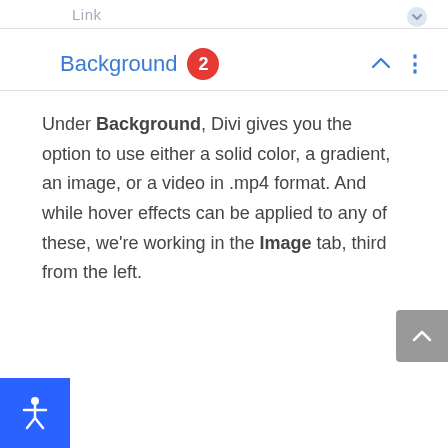Link
Background 2
Under Background, Divi gives you the option to use either a solid color, a gradient, an image, or a video in .mp4 format. And while hover effects can be applied to any of these, we're working in the Image tab, third from the left.